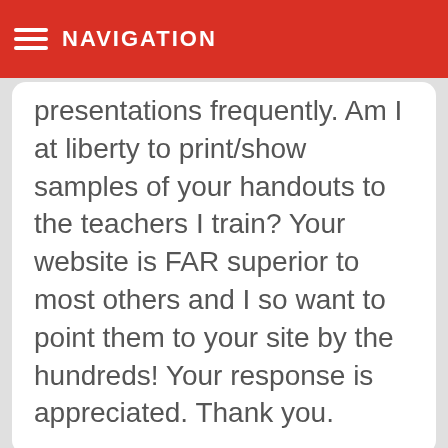NAVIGATION
presentations frequently. Am I at liberty to print/show samples of your handouts to the teachers I train? Your website is FAR superior to most others and I so want to point them to your site by the hundreds! Your response is appreciated. Thank you.
Mr. Morton / May 1, 2013

That is kind of you to say. Feel free to promote away! I appreciate any and all references